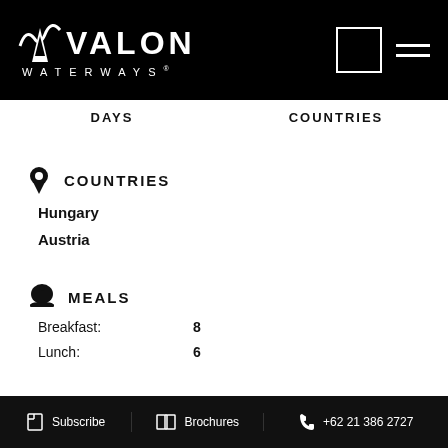AVALON WATERWAYS
DAYS    COUNTRIES
COUNTRIES
Hungary
Austria
MEALS
Breakfast:  8
Lunch:  6
Subscribe    Brochures    +62 21 386 2727